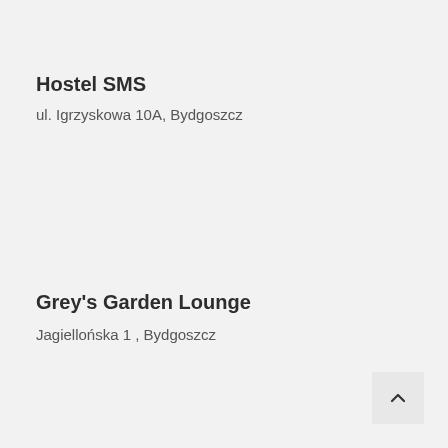Hostel SMS
ul. Igrzyskowa 10A, Bydgoszcz
Grey's Garden Lounge
Jagiellońska 1 , Bydgoszcz